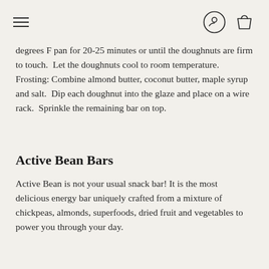[hamburger menu] [user icon] [shopping bag icon]
degrees F pan for 20-25 minutes or until the doughnuts are firm to touch.  Let the doughnuts cool to room temperature.
Frosting: Combine almond butter, coconut butter, maple syrup and salt.  Dip each doughnut into the glaze and place on a wire rack.  Sprinkle the remaining bar on top.
Active Bean Bars
Active Bean is not your usual snack bar! It is the most delicious energy bar uniquely crafted from a mixture of chickpeas, almonds, superfoods, dried fruit and vegetables to power you through your day.